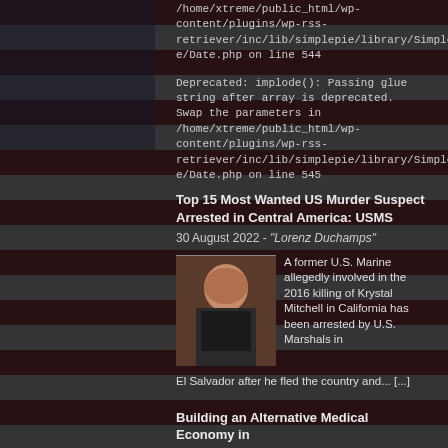/home/xtreme/public_html/wp-content/plugins/wp-rss-retriever/inc/lib/simplepie/library/SimplePie/Parse/Date.php on line 544
Deprecated: implode(): Passing glue string after array is deprecated. Swap the parameters in /home/xtreme/public_html/wp-content/plugins/wp-rss-retriever/inc/lib/simplepie/library/SimplePie/Parse/Date.php on line 545
Top 15 Most Wanted US Murder Suspect Arrested in Central America: USMS
30 August 2022 - "Lorenz Duchamps"
[Figure (photo): Photo of a bald man in dark clothing, appears to be a mugshot or surveillance photo]
A former U.S. Marine allegedly involved in the 2016 killing of Krystal Mitchell in California has been arrested by U.S. Marshals in El Salvador after he fled the country and... [...]
Building an Alternative Medical Economy in